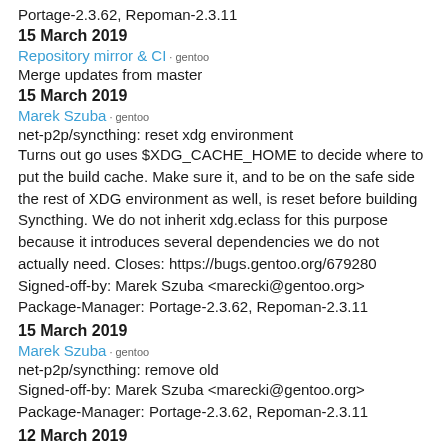Portage-2.3.62, Repoman-2.3.11
15 March 2019
Repository mirror & CI · gentoo
Merge updates from master
15 March 2019
Marek Szuba · gentoo
net-p2p/syncthing: reset xdg environment
Turns out go uses $XDG_CACHE_HOME to decide where to put the build cache. Make sure it, and to be on the safe side the rest of XDG environment as well, is reset before building Syncthing. We do not inherit xdg.eclass for this purpose because it introduces several dependencies we do not actually need. Closes: https://bugs.gentoo.org/679280 Signed-off-by: Marek Szuba <marecki@gentoo.org> Package-Manager: Portage-2.3.62, Repoman-2.3.11
15 March 2019
Marek Szuba · gentoo
net-p2p/syncthing: remove old
Signed-off-by: Marek Szuba <marecki@gentoo.org> Package-Manager: Portage-2.3.62, Repoman-2.3.11
12 March 2019
Repository mirror & CI · gentoo
Merge updates from master